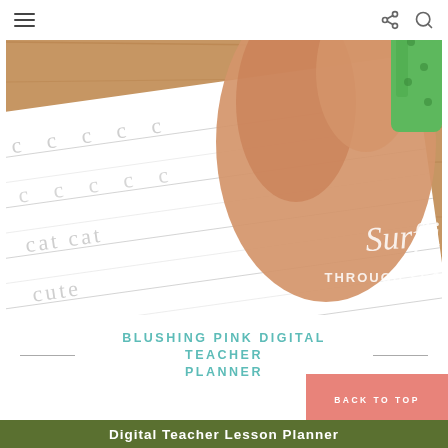Navigation bar with hamburger menu, share icon, and search icon
[Figure (photo): Close-up photo of a child's hand writing letter C practice worksheet with words: cat, cute, catch, cupcake. A green pencil holder visible. Watermark reads 'Surfin Through Second'. Wooden desk background.]
BLUSHING PINK DIGITAL TEACHER PLANNER
BACK TO TOP
Digital Teacher Lesson Planner